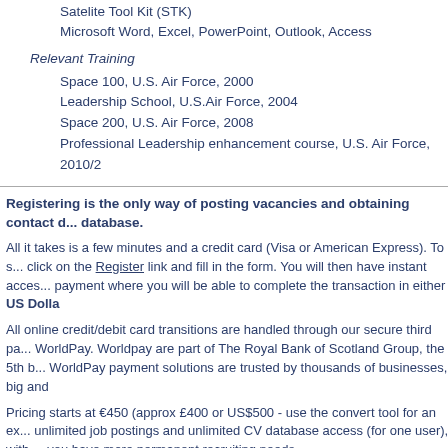Satelite Tool Kit (STK)
Microsoft Word, Excel, PowerPoint, Outlook, Access
Relevant Training
Space 100, U.S. Air Force, 2000
Leadership School, U.S.Air Force, 2004
Space 200, U.S. Air Force, 2008
Professional Leadership enhancement course, U.S. Air Force, 2010/2
Registering is the only way of posting vacancies and obtaining contact details from our database.
All it takes is a few minutes and a credit card (Visa or American Express). To start, click on the Register link and fill in the form. You will then have instant access to payment where you will be able to complete the transaction in either US Dollars
All online credit/debit card transitions are handled through our secure third party WorldPay. Worldpay are part of The Royal Bank of Scotland Group, the 5th b... WorldPay payment solutions are trusted by thousands of businesses, big and
Pricing starts at €450 (approx £400 or US$500 - use the convert tool for an ex... unlimited job postings and unlimited CV database access (for one user), with you have more permanent recruiting needs.
2022 Pricing Structure (excluding VAT):
1 month - Discovery	450 euros
3 months - Bronze	1150 euros
If online payment is not convenient, give us a call at +33(0)622757477 or sen... careers.com. We will set up an account for you and invoice you, but in this ca... granted only after payment has been received. Note that you can also pay thr